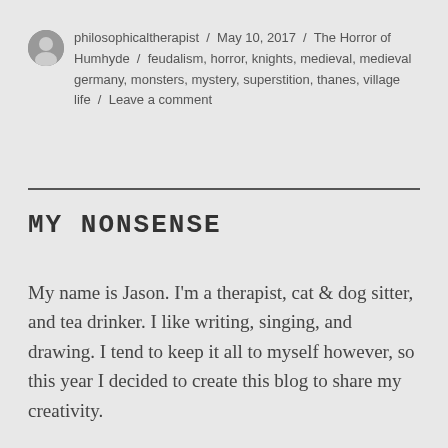philosophicaltherapist / May 10, 2017 / The Horror of Humhyde / feudalism, horror, knights, medieval, medieval germany, monsters, mystery, superstition, thanes, village life / Leave a comment
MY NONSENSE
My name is Jason. I'm a therapist, cat & dog sitter, and tea drinker. I like writing, singing, and drawing. I tend to keep it all to myself however, so this year I decided to create this blog to share my creativity.